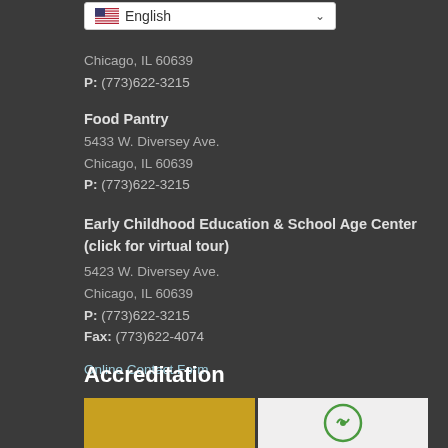[Figure (screenshot): Language selector dropdown showing US flag and 'English' text with chevron]
Chicago, IL 60639
P: (773)622-3215
Food Pantry
5433 W. Diversey Ave.
Chicago, IL 60639
P: (773)622-3215
Early Childhood Education & School Age Center (click for virtual tour)
5423 W. Diversey Ave.
Chicago, IL 60639
P: (773)622-3215
Fax: (773)622-4074
Online Contact Form
Accreditation
[Figure (other): Two accreditation logo images side by side, left is yellow/orange background, right has a green circular logo]